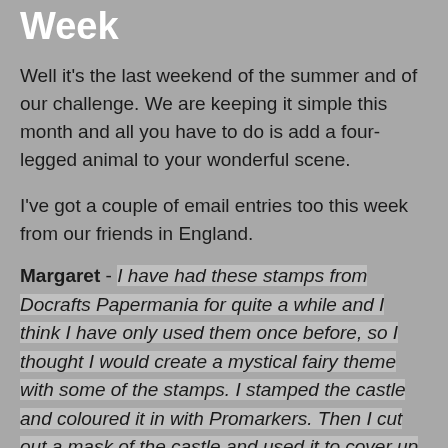Week
Well it's the last weekend of the summer and of our challenge.  We are keeping it simple this month and all you have to do is add a four-legged animal to your wonderful scene.
I've got a couple of email entries too this week from our friends in England.
Margaret - I have had these stamps from Docrafts Papermania for quite a while and I think I have only used them once before, so I thought I would create a mystical fairy theme with some of the stamps.  I stamped the castle and coloured it in with Promarkers.  Then I cut out a mask of the castle and used it to cover up the image whilst I created the background, using a brayer and adirondak inks.  The large unicorn was stamped, coloured with Promarkers, then cut out and attached with 3D glue